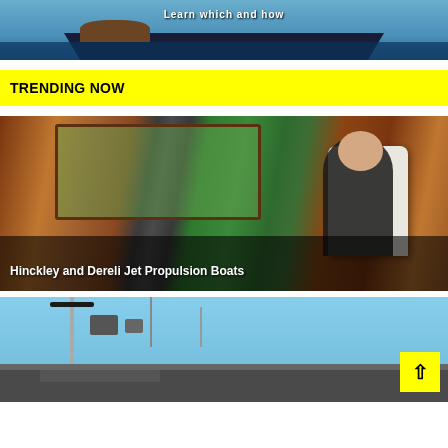[Figure (photo): Top portion of a sailing/boating image with text 'Learn which and how' visible at top, blue water and boat hull visible]
TRENDING NOW
[Figure (photo): Interior photo of a boat cabin with wooden paneling, a man in black shirt sitting in a white captain's chair, windows showing greenery outside]
Hinckley and Dereli Jet Propulsion Boats
[Figure (photo): Exterior photo of a boat showing mast, radar equipment, and various instruments against a blue sky]